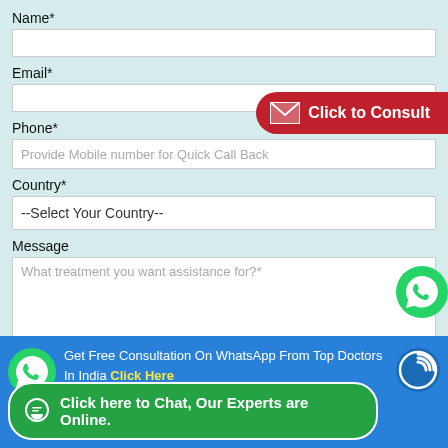Name*
Email*
Click to Consult
Phone*
Provide Mobile number for Quick Call Back
Country*
--Select Your Country--
Message
What treatment you want assistance for?*
SUBMIT
Get Free Consultation On WhatsApp From Top Doctors In India Click Here
Click here to Chat, Our Experts are Online.